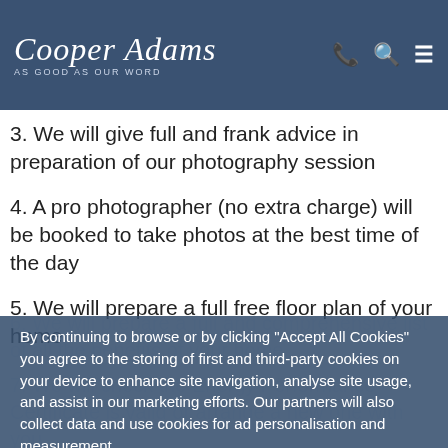Cooper Adams — AS GOOD AS OUR WORD
2. We discuss the optimal marketing procedures to obtain the maximum price without delays
3. We will give full and frank advice in preparation of our photography session
4. A pro photographer (no extra charge) will be booked to take photos at the best time of the day
5. We will prepare a full free floor plan of your home
6. We will prepare a full and comprehensive list of all the benefits of your home
7. We will check the Energy Performance Certificate is valid or arrange a new one with you
8. We will plan all advertising for your home including digital and print
9. You will need to be 100% satisfied with our sales
By continuing to browse or by clicking “Accept All Cookies” you agree to the storing of first and third-party cookies on your device to enhance site navigation, analyse site usage, and assist in our marketing efforts. Our partners will also collect data and use cookies for ad personalisation and measurement. Review our Cookie Policy here.
Deny Cookies | Accept All Cookies